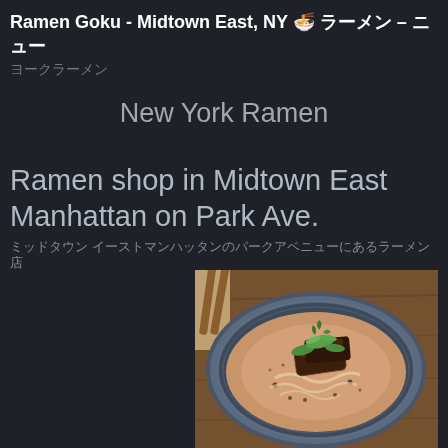Ramen Goku - Midtown East, NY 🍜 ラーメン – ニュー ヨークラーメン
New York Ramen
Ramen shop in Midtown East Manhattan on Park Ave. ミッドタウン イーストマンハッタンのパークアベニューにあるラーメン店
[Figure (photo): A bowl of ramen with broth, chashu pork, green onions, and garnishes in a dark ceramic bowl on a wooden table]